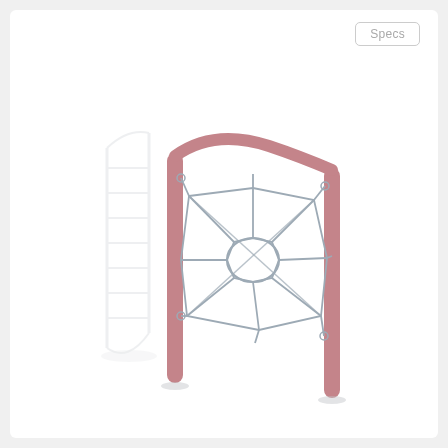[Figure (illustration): Product illustration of a playground spider web climbing net panel. Two vertical pink/mauve cylindrical posts support a wavy horizontal top bar of the same color. Between the posts hangs a rope net arranged in a spider web pattern with a circular center hub and radiating/connecting ropes. In the background to the left, a faint white outline of another playground structure is visible. The overall style is a clean 3D product render on white background.]
Specs